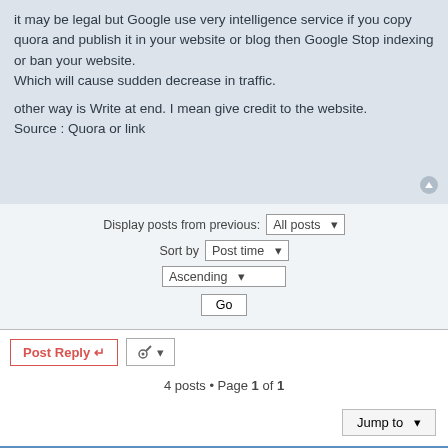it may be legal but Google use very intelligence service if you copy quora and publish it in your website or blog then Google Stop indexing or ban your website.
Which will cause sudden decrease in traffic.

other way is Write at end. I mean give credit to the website.
Source : Quora or link
Display posts from previous: All posts
Sort by Post time
Ascending
Go
Post Reply   [tools]
4 posts • Page 1 of 1
Jump to
WHO IS ONLINE
Users browsing this forum: No registered users and 1 guest
Board index   Contact us   The team   Members
Powered by phpBB® Forum Software © phpBB Limited